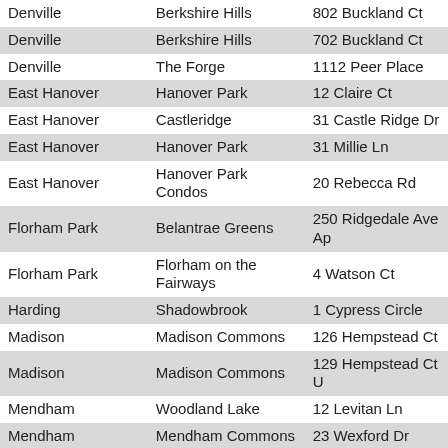| Municipality | Development | Address |
| --- | --- | --- |
| Denville | Berkshire Hills | 802 Buckland Ct |
| Denville | Berkshire Hills | 702 Buckland Ct |
| Denville | The Forge | 1112 Peer Place |
| East Hanover | Hanover Park | 12 Claire Ct |
| East Hanover | Castleridge | 31 Castle Ridge Dr |
| East Hanover | Hanover Park | 31 Millie Ln |
| East Hanover | Hanover Park Condos | 20 Rebecca Rd |
| Florham Park | Belantrae Greens | 250 Ridgedale Ave Ap |
| Florham Park | Florham on the Fairways | 4 Watson Ct |
| Harding | Shadowbrook | 1 Cypress Circle |
| Madison | Madison Commons | 126 Hempstead Ct |
| Madison | Madison Commons | 129 Hempstead Ct U |
| Mendham | Woodland Lake | 12 Levitan Ln |
| Mendham | Mendham Commons | 23 Wexford Dr |
| Mendham | Mendham Commons | 48 Essex Dr |
| Montville | Campagna | 136 Changebridge Rd H1 |
| Montville | Campagna | 136 Changebridge Rd B3 |
| Montville | Hunting Hills | 45 HERITAGE CT |
| Montville | Longview | 6 Eugene Dr |